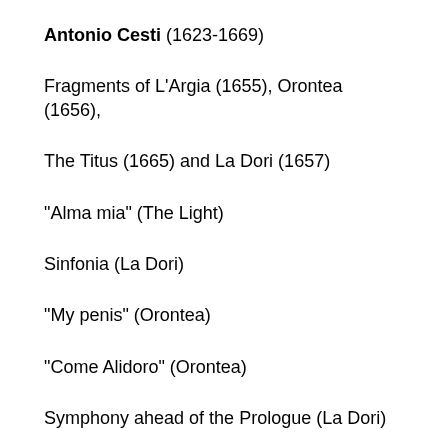Antonio Cesti (1623-1669)
Fragments of L'Argia (1655), Orontea (1656),
The Titus (1665) and La Dori (1657)
"Alma mia" (The Light)
Sinfonia (La Dori)
"My penis" (Orontea)
"Come Alidoro" (Orontea)
Symphony ahead of the Prologue (La Dori)